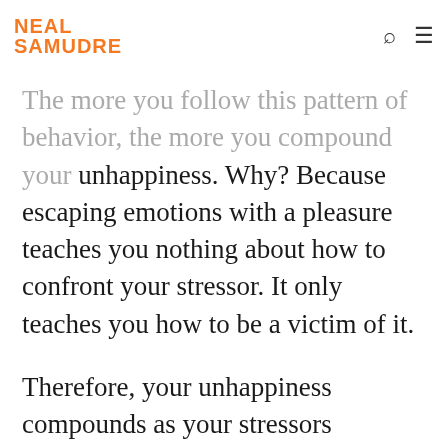NEAL SAMUDRE
The more you follow this pattern of behavior, the more you compound your unhappiness. Why? Because escaping emotions with a pleasure teaches you nothing about how to confront your stressor. It only teaches you how to be a victim of it.
Therefore, your unhappiness compounds as your stressors intensify.
Science proves that The Negativity Cycle only intensifies the stressors.